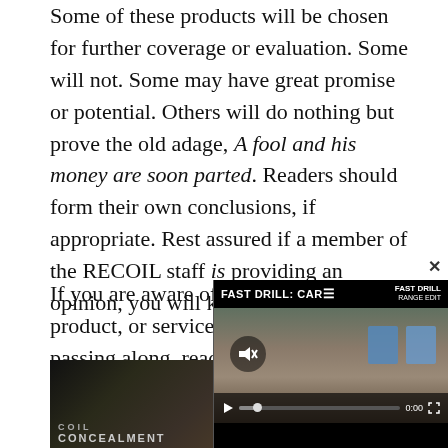Some of these products will be chosen for further coverage or evaluation. Some will not. Some may have great promise or potential. Others will do nothing but prove the old adage, A fool and his money are soon parted. Readers should form their own conclusions, if appropriate. Rest assured if a member of the RECOIL staff is providing an opinion, you will know about it.
If you are aware of a new technology, product, or service you think is worth us passing along, reach out to RECOIL@enthusiastnetwork.com with details.
[Figure (photo): Bottom image showing RECOIL magazine/concealment products collage]
[Figure (screenshot): Video overlay showing 'FAST DRILL: CAR' video with play controls, mute button, and blue target boxes visible on a shooting range background]